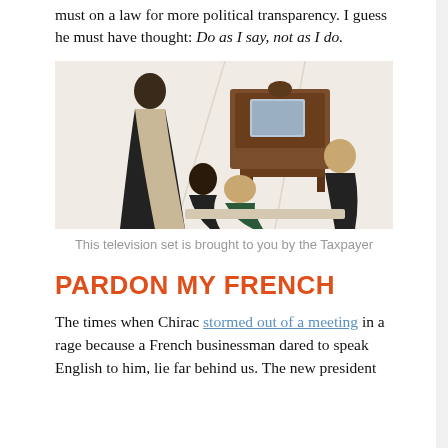must on a law for more political transparency. I guess he must have thought: Do as I say, not as I do.
[Figure (illustration): Vintage illustration of a 1950s living room scene with a woman in a black evening gown standing, and several people seated watching a large wooden television set.]
This television set is brought to you by the Taxpayer
PARDON MY FRENCH
The times when Chirac stormed out of a meeting in a rage because a French businessman dared to speak English to him, lie far behind us. The new president